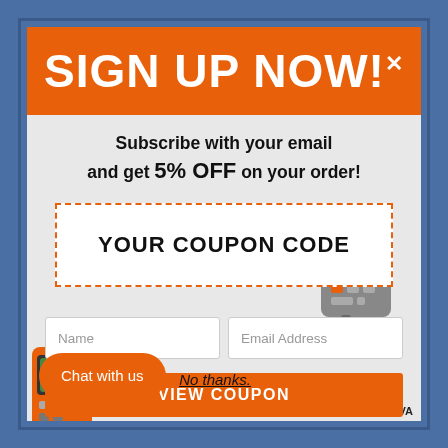SIGN UP NOW!*
Subscribe with your email and get 5% OFF on your order!
YOUR COUPON CODE
Name
Email Address
VIEW COUPON
Chat with us
No thanks.